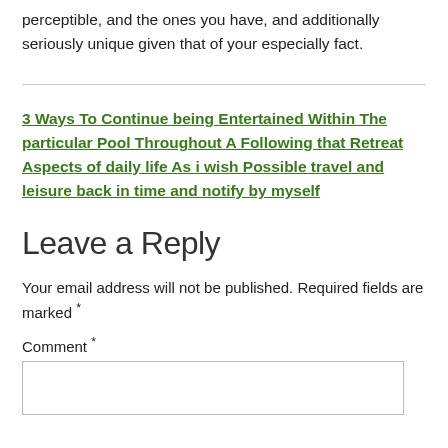perceptible, and the ones you have, and additionally seriously unique given that of your especially fact.
3 Ways To Continue being Entertained Within The particular Pool Throughout A Following that Retreat Aspects of daily life As i wish Possible travel and leisure back in time and notify by myself
Leave a Reply
Your email address will not be published. Required fields are marked *
Comment *